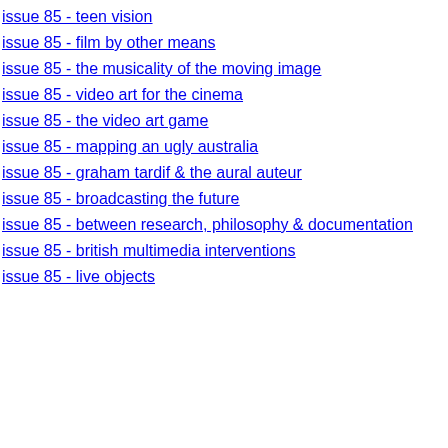issue 85 - teen vision
issue 85 - film by other means
issue 85 - the musicality of the moving image
issue 85 - video art for the cinema
issue 85 - the video art game
issue 85 - mapping an ugly australia
issue 85 - graham tardif & the aural auteur
issue 85 - broadcasting the future
issue 85 - between research, philosophy & documentation
issue 85 - british multimedia interventions
issue 85 - live objects